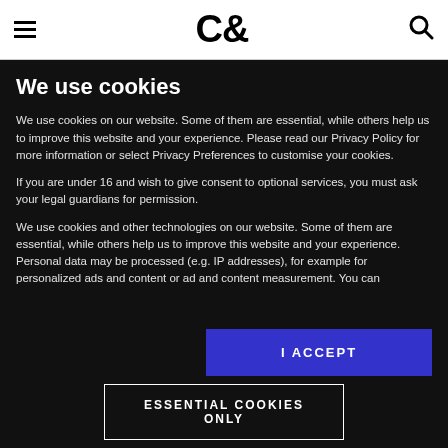C&
We use cookies
We use cookies on our website. Some of them are essential, while others help us to improve this website and your experience. Please read our Privacy Policy for more information or select Privacy Preferences to customise your cookies.
If you are under 16 and wish to give consent to optional services, you must ask your legal guardians for permission.
We use cookies and other technologies on our website. Some of them are essential, while others help us to improve this website and your experience. Personal data may be processed (e.g. IP addresses), for example for personalized ads and content or ad and content measurement. You can
I ACCEPT
ESSENTIAL COOKIES ONLY